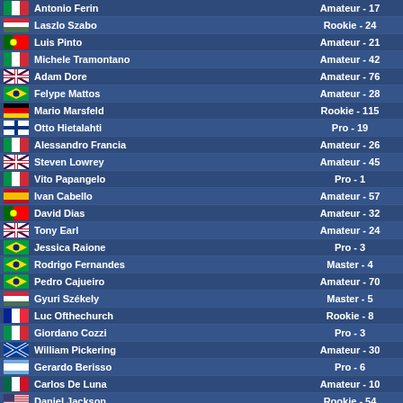| Flag | Name | Category - Rank |
| --- | --- | --- |
| IT | Antonio Ferin | Amateur - 17 |
| HU | Laszlo Szabo | Rookie - 24 |
| PT | Luis Pinto | Amateur - 21 |
| IT | Michele Tramontano | Amateur - 42 |
| EN | Adam Dore | Amateur - 76 |
| BR | Felype Mattos | Amateur - 28 |
| DE | Mario Marsfeld | Rookie - 115 |
| FI | Otto Hietalahti | Pro - 19 |
| IT | Alessandro Francia | Amateur - 26 |
| EN | Steven Lowrey | Amateur - 45 |
| IT | Vito Papangelo | Pro - 1 |
| ES | Ivan Cabello | Amateur - 57 |
| PT | David Dias | Amateur - 32 |
| EN | Tony Earl | Amateur - 24 |
| BR | Jessica Raione | Pro - 3 |
| BR | Rodrigo Fernandes | Master - 4 |
| BR | Pedro Cajueiro | Amateur - 70 |
| HU | Gyuri Székely | Master - 5 |
| FR | Luc Ofthechurch | Rookie - 8 |
| IT | Giordano Cozzi | Pro - 3 |
| SC | William Pickering | Amateur - 30 |
| AR | Gerardo Berisso | Pro - 6 |
| MX | Carlos De Luna | Amateur - 10 |
| US | Daniel Jackson | Rookie - 54 |